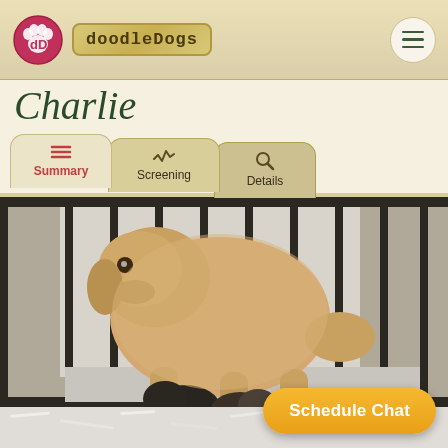doodleDogs
Charlie
Summary
Screening
Details
[Figure (photo): A golden doodle dog standing in a crate/pen with two dark-colored puppies nursing underneath her. The mother dog has curly cream/apricot fur and is standing on a white shredded paper bedding.]
Schedule Chat